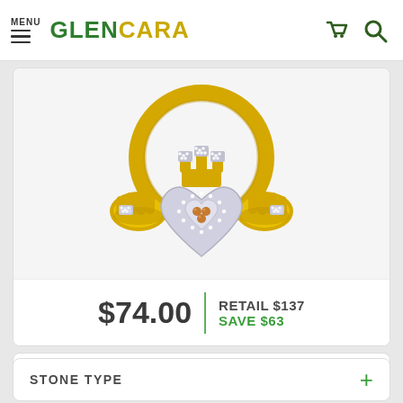MENU | GLENCARA
[Figure (photo): Glencara gold Claddagh ring with diamond-studded heart and crown, shown from front view. The ring features yellow gold hands and band, white gold heart setting with white diamonds, and three champagne/cognac diamonds in the center heart.]
$74.00  |  RETAIL $137  SAVE $63
METAL +
STONE TYPE +